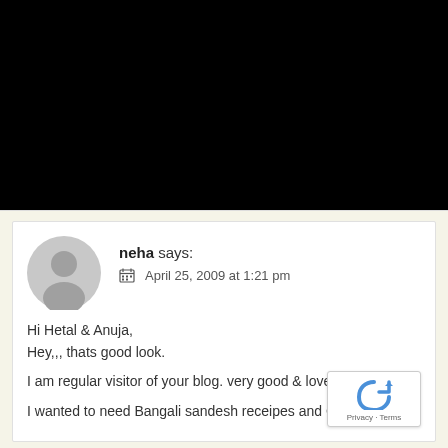[Figure (photo): Black rectangle occupying top portion of page (image area)]
neha says:
April 25, 2009 at 1:21 pm

Hi Hetal & Anuja,
Hey,,, thats good look.

I am regular visitor of your blog. very good & lovely r

I wanted to need Bangali sandesh receipes and Chole chana...